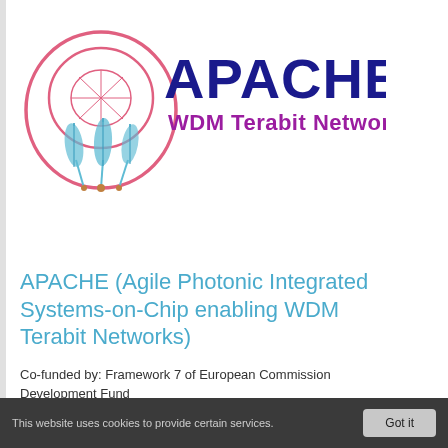[Figure (logo): APACHE WDM Terabit Networks logo — dreamcatcher with feathers on the left, large bold dark-blue 'APACHE' text and magenta/purple 'WDM Terabit Networks' text on the right]
APACHE (Agile Photonic Integrated Systems-on-Chip enabling WDM Terabit Networks)
Co-funded by: Framework 7 of European Commission Development Fund
This website uses cookies to provide certain services.  Got it